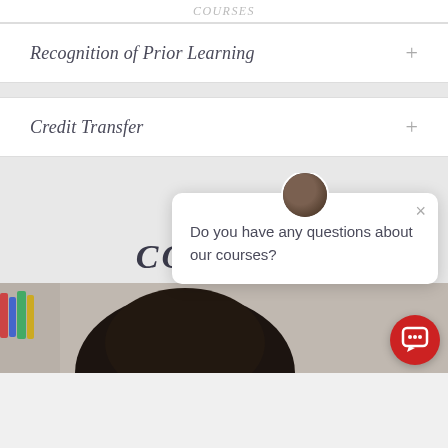Recognition of Prior Learning
Credit Transfer
[Figure (screenshot): Chat popup widget with avatar photo, close button (×), and text 'Do you have any questions about our courses?']
BROWSE COURSES
[Figure (photo): Photo of a person with dark hair, partial view, with bookshelves in the background]